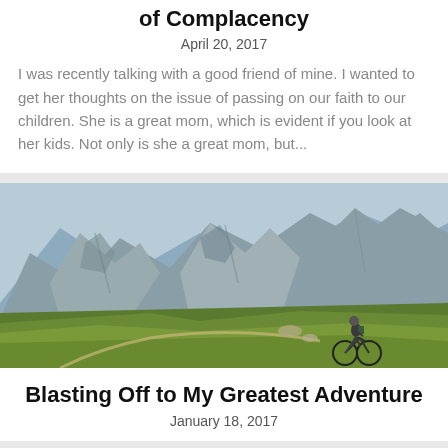of Complacency
April 20, 2017
I was recently talking with a good friend of mine. I wanted to get her thoughts on the issue of passing on our faith to our children. She is a great mom, which is evident if you look at her kids. Not only is she a great mom, but...
[Figure (photo): A mountain biker riding on a trail through green alpine meadows with large rocky mountains in the background under a hazy blue sky.]
Blasting Off to My Greatest Adventure
January 18, 2017